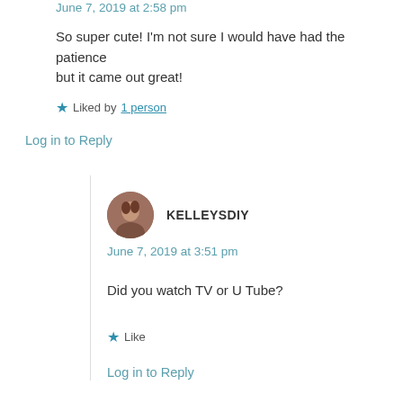June 7, 2019 at 2:58 pm
So super cute! I'm not sure I would have had the patience but it came out great!
★ Liked by 1 person
Log in to Reply
KELLEYSDIY
June 7, 2019 at 3:51 pm
Did you watch TV or U Tube?
★ Like
Log in to Reply